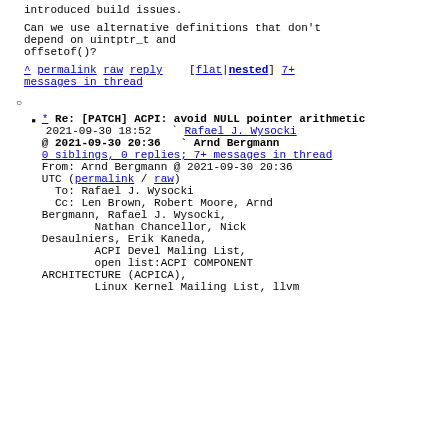introduced build issues.
Can we use alternative definitions that don't depend on uintptr_t and offsetof()?
^ permalink raw reply [flat|nested] 7+ messages in thread
* Re: [PATCH] ACPI: avoid NULL pointer arithmetic
2021-09-30 18:52  ` Rafael J. Wysocki
@ 2021-09-30 20:36  ` Arnd Bergmann
0 siblings, 0 replies; 7+ messages in thread
From: Arnd Bergmann @ 2021-09-30 20:36 UTC (permalink / raw)
  To: Rafael J. Wysocki
  Cc: Len Brown, Robert Moore, Arnd Bergmann, Rafael J. Wysocki,
        Nathan Chancellor, Nick Desaulniers, Erik Kaneda,
        ACPI Devel Maling List,
        open list:ACPI COMPONENT ARCHITECTURE (ACPICA),
        Linux Kernel Mailing List, llvm